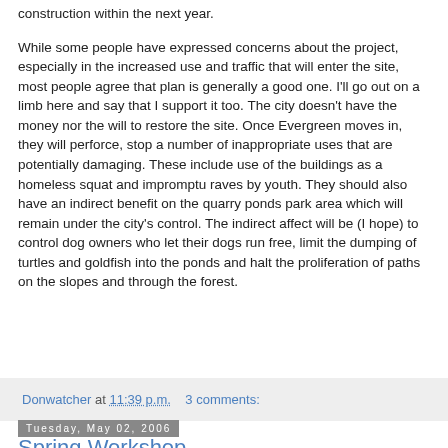construction within the next year.
While some people have expressed concerns about the project, especially in the increased use and traffic that will enter the site, most people agree that plan is generally a good one. I'll go out on a limb here and say that I support it too. The city doesn't have the money nor the will to restore the site. Once Evergreen moves in, they will perforce, stop a number of inappropriate uses that are potentially damaging. These include use of the buildings as a homeless squat and impromptu raves by youth. They should also have an indirect benefit on the quarry ponds park area which will remain under the city's control. The indirect affect will be (I hope) to control dog owners who let their dogs run free, limit the dumping of turtles and goldfish into the ponds and halt the proliferation of paths on the slopes and through the forest.
Donwatcher at 11:39 p.m.  3 comments:
Tuesday, May 02, 2006
Spring Workshop